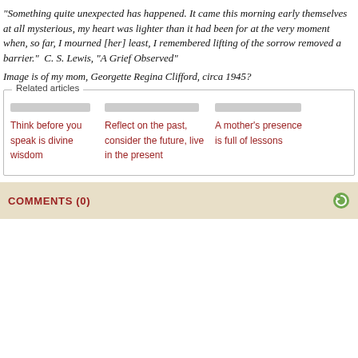“Something quite unexpected has happened. It came this morning early themselves at all mysterious, my heart was lighter than it had been for at the very moment when, so far, I mourned [her] least, I remembered lifting of the sorrow removed a barrier.”  C. S. Lewis, “A Grief Observed”
Image is of my mom, Georgette Regina Clifford, circa 1945?
Related articles: Think before you speak is divine wisdom | Reflect on the past, consider the future, live in the present | A mother’s presence is full of lessons
COMMENTS (0)